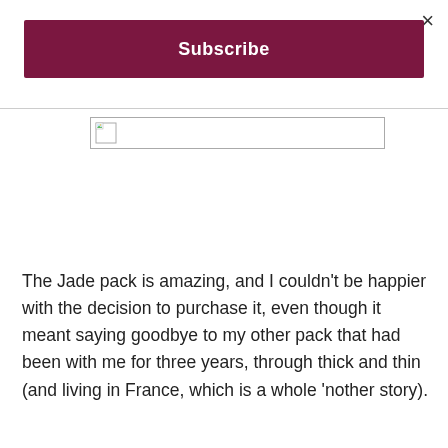×
Subscribe
[Figure (screenshot): Broken image placeholder icon with a small landscape thumbnail icon in top-left corner and a wide empty white box]
The Jade pack is amazing, and I couldn't be happier with the decision to purchase it, even though it meant saying goodbye to my other pack that had been with me for three years, through thick and thin (and living in France, which is a whole 'nother story).